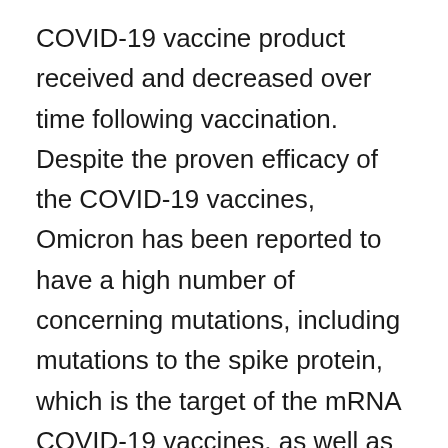COVID-19 vaccine product received and decreased over time following vaccination. Despite the proven efficacy of the COVID-19 vaccines, Omicron has been reported to have a high number of concerning mutations, including mutations to the spike protein, which is the target of the mRNA COVID-19 vaccines, as well as in locations thought to be potential drivers of transmissibility. The concerns about these mutations and the potential risks are that this variant of concern is able to spread faster than previous variants (e.g. Delta). This is the case with Omicron sub-lineage